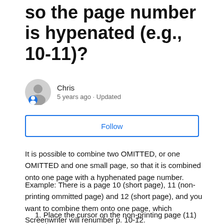so the page number is hypenated (e.g., 10-11)?
Chris
5 years ago · Updated
Follow
It is possible to combine two OMITTED, or one OMITTED and one small page, so that it is combined onto one page with a hyphenated page number.
Example: There is a page 10 (short page), 11 (non-printing ommitted page) and 12 (short page), and you want to combine them onto one page, which Screenwriter will renumber p. 10-12.
1. Place the cursor on the non-printing page (11) and